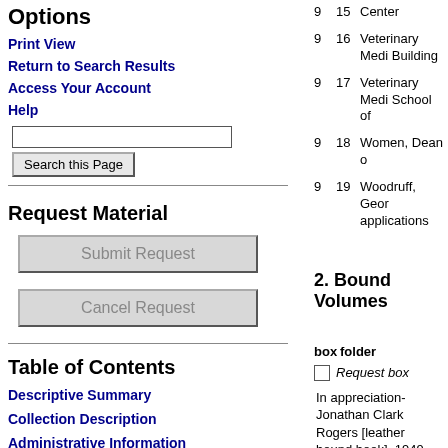Options
Print View
Return to Search Results
Access Your Account
Help
Request Material
Table of Contents
Descriptive Summary
Collection Description
Administrative Information
| box | folder |  |
| --- | --- | --- |
| 9 | 15 | Center |
| 9 | 16 | Veterinary Medi Building |
| 9 | 17 | Veterinary Medi School of |
| 9 | 18 | Women, Dean o |
| 9 | 19 | Woodruff, Geor applications |
2. Bound Volumes
| box | folder |
| --- | --- |
In appreciation- Jonathan Clark Rogers [leather bound book], 1949-